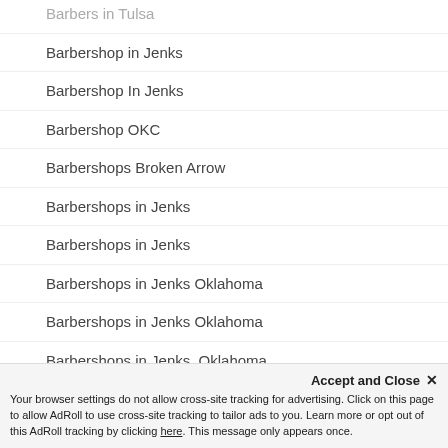Barbers in Tulsa
Barbershop in Jenks
Barbershop In Jenks
Barbershop OKC
Barbershops Broken Arrow
Barbershops in Jenks
Barbershops in Jenks
Barbershops in Jenks Oklahoma
Barbershops in Jenks Oklahoma
Barbershops in Jenks, Oklahoma
Barbershops in Oklahoma City
Barbershops Jenks
Barbershops Jenks
Accept and Close ✕
Your browser settings do not allow cross-site tracking for advertising. Click on this page to allow AdRoll to use cross-site tracking to tailor ads to you. Learn more or opt out of this AdRoll tracking by clicking here. This message only appears once.